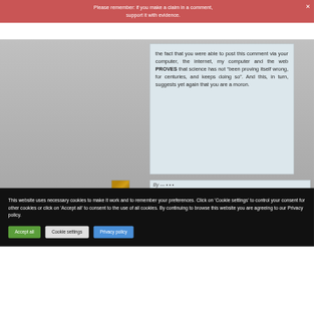Please remember: if you make a claim in a comment, support it with evidence.
the fact that you were able to post this comment via your computer, the internet, my computer and the web PROVES that science has not “been proving itself wrong, for centuries, and keeps doing so”. And this, in turn, suggests yet again that you are a moron.
[Figure (screenshot): Partial thumbnail image of next comment, brownish/golden tones]
This website uses necessary cookies to make it work and to remember your preferences. Click on 'Cookie settings' to control your consent for other cookies or click on 'Accept all' to consent to the use of all cookies. By continuing to browse this website you are agreeing to our Privacy policy.
Accept all
Cookie settings
Privacy policy